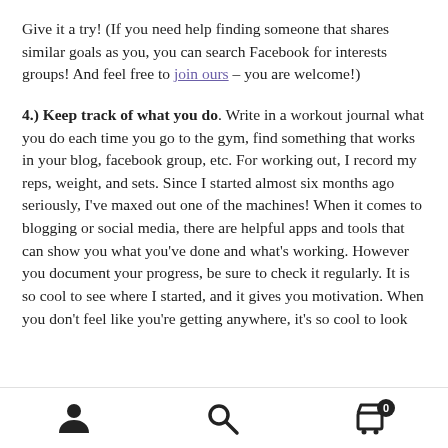Give it a try! (If you need help finding someone that shares similar goals as you, you can search Facebook for interests groups! And feel free to join ours – you are welcome!)
4.) Keep track of what you do. Write in a workout journal what you do each time you go to the gym, find something that works in your blog, facebook group, etc. For working out, I record my reps, weight, and sets. Since I started almost six months ago seriously, I've maxed out one of the machines! When it comes to blogging or social media, there are helpful apps and tools that can show you what you've done and what's working. However you document your progress, be sure to check it regularly. It is so cool to see where I started, and it gives you motivation. When you don't feel like you're getting anywhere, it's so cool to look
[person icon] [search icon] [cart icon with badge 0]